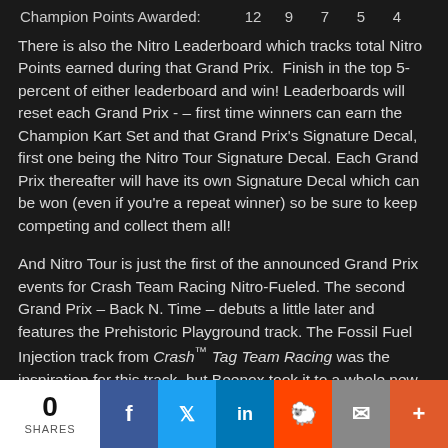| Champion Points Awarded: | 12 | 9 | 7 | 5 | 4 |
| --- | --- | --- | --- | --- | --- |
There is also the Nitro Leaderboard which tracks total Nitro Points earned during that Grand Prix.  Finish in the top 5-percent of either leaderboard and win! Leaderboards will reset each Grand Prix - – first time winners can earn the Champion Kart Set and that Grand Prix's Signature Decal, first one being the Nitro Tour Signature Decal. Each Grand Prix thereafter will have its own Signature Decal which can be won (even if you're a repeat winner) so be sure to keep competing and collect them all!
And Nitro Tour is just the first of the announced Grand Prix events for Crash Team Racing Nitro-Fueled. The second Grand Prix – Back N. Time – debuts a little later and features the Prehistoric Playground track. The Fossil Fuel Injection track from Crash™ Tag Team Racing was the inspiration for this track, but Beenox took it to a whole new level: They
0 SHARES | Facebook | Twitter | LinkedIn | Reddit | Email | +